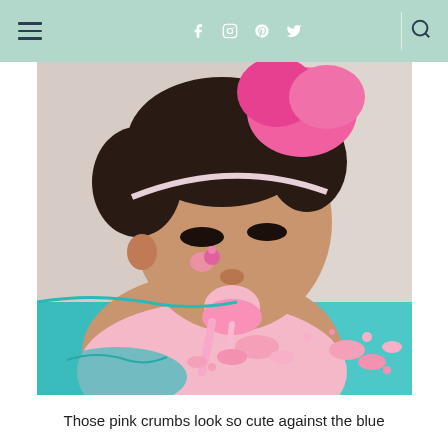Navigation header with hamburger menu, social icons (Facebook, Instagram, Pinterest, Twitter), and search icon
[Figure (photo): A baby/toddler girl with a pink tutu headband looking down, face covered in pink frosting/cake, with pink cake crumbs scattered on a blue surface in front of her. She is wearing a pink top.]
Those pink crumbs look so cute against the blue